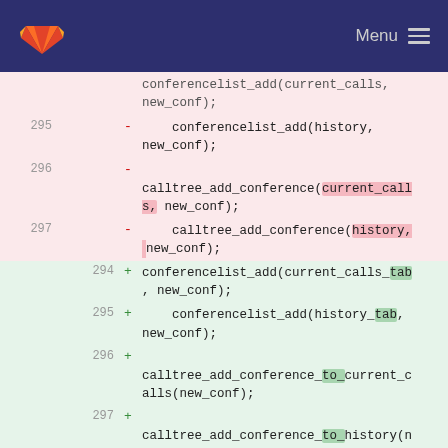GitLab — Menu
Diff view showing removed lines (295-297) and added lines (294-298) in a code file with conference list and calltree functions.
[Figure (screenshot): GitLab diff view showing removed and added code lines for conferencelist_add and calltree_add_conference functions]